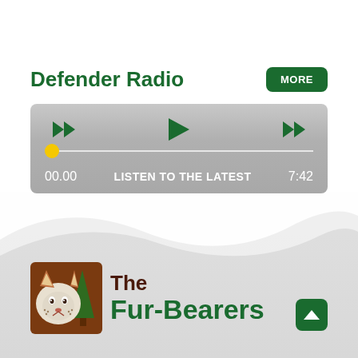Defender Radio
[Figure (screenshot): Audio player widget with rewind, play, and fast-forward buttons, a progress bar with yellow dot at start, time display 00.00 on left, 'LISTEN TO THE LATEST' in center, 7:42 on right.]
[Figure (logo): The Fur-Bearers logo: fox/wolf face icon with pine tree, text 'The Fur-Bearers' in dark red and green.]